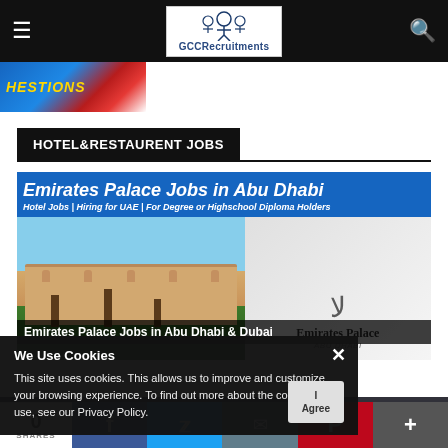GCCRecruitments
[Figure (screenshot): Partial banner image with text HESTIONS in yellow italic on blue/red background]
HOTEL&RESTAURENT JOBS
[Figure (screenshot): Emirates Palace Jobs in Abu Dhabi article card with blue header, subtitle 'Hotel Jobs | Hiring for UAE | For Degree or Highschool Diploma Holders', photo of Emirates Palace building and Emirates Palace logo]
Emirates Palace Jobs in Abu Dhabi & Dubai
We Use Cookies
This site uses cookies. This allows us to improve and customize your browsing experience. To find out more about the cookies we use, see our Privacy Policy.
Golden Sands Hotel Apartments Jobs in
0 SHARES